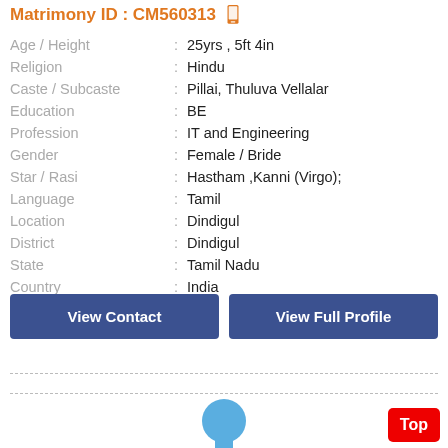Matrimony ID : CM560313
| Field | : | Value |
| --- | --- | --- |
| Age / Height | : | 25yrs , 5ft 4in |
| Religion | : | Hindu |
| Caste / Subcaste | : | Pillai, Thuluva Vellalar |
| Education | : | BE |
| Profession | : | IT and Engineering |
| Gender | : | Female / Bride |
| Star / Rasi | : | Hastham ,Kanni (Virgo); |
| Language | : | Tamil |
| Location | : | Dindigul |
| District | : | Dindigul |
| State | : | Tamil Nadu |
| Country | : | India |
View Contact
View Full Profile
[Figure (illustration): Blue silhouette avatar icon of a person]